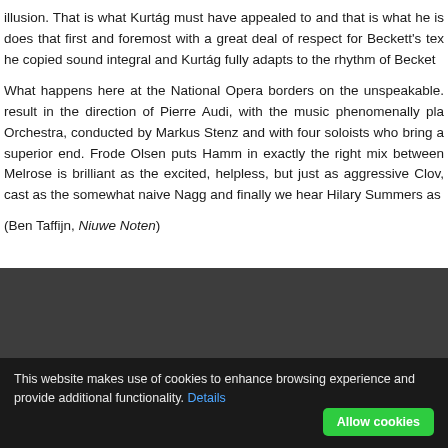illusion. That is what Kurtág must have appealed to and that is what he is does that first and foremost with a great deal of respect for Beckett's tex he copied sound integral and Kurtág fully adapts to the rhythm of Becket

What happens here at the National Opera borders on the unspeakable. result in the direction of Pierre Audi, with the music phenomenally pla Orchestra, conducted by Markus Stenz and with four soloists who bring a superior end. Frode Olsen puts Hamm in exactly the right mix between Melrose is brilliant as the excited, helpless, but just as aggressive Clov, cast as the somewhat naive Nagg and finally we hear Hilary Summers as

(Ben Taffijn, Niuwe Noten)
[Figure (other): Dark grey panel area, likely video or image placeholder]
This website makes use of cookies to enhance browsing experience and provide additional functionality. Details